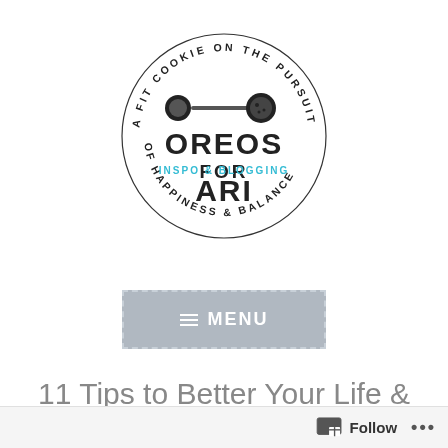[Figure (logo): Oreos for Ari blog logo — circular text reading 'A FIT COOKIE ON THE PURSUIT OF HAPPINESS & BALANCE' around a barbell image, with large text 'OREOS FOR ARI' and teal subtitle 'INSPO & BLOGGING']
[Figure (other): Gray menu button with dashed border, hamburger icon and text 'MENU']
11 Tips to Better Your Life & Your Circle.
Follow ...